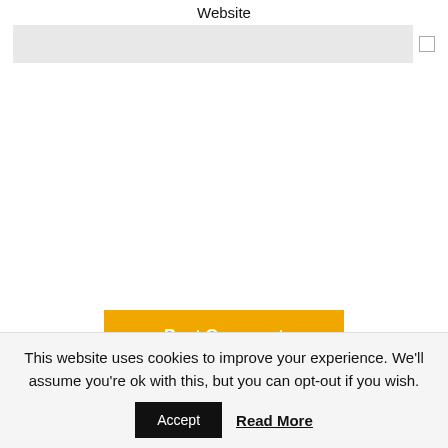Website
[Figure (screenshot): A web form input field for Website with a grey background text box and a small checkbox on the right, followed by a large empty white content area.]
Post Comment
This website uses cookies to improve your experience. We'll assume you're ok with this, but you can opt-out if you wish.
Accept
Read More